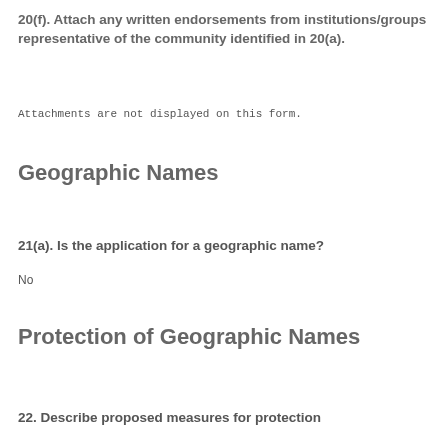20(f). Attach any written endorsements from institutions/groups representative of the community identified in 20(a).
Attachments are not displayed on this form.
Geographic Names
21(a). Is the application for a geographic name?
No
Protection of Geographic Names
22. Describe proposed measures for protection